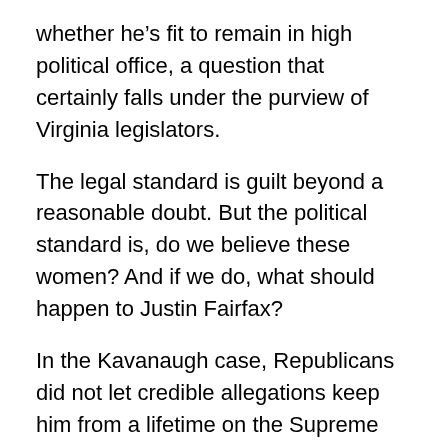whether he’s fit to remain in high political office, a question that certainly falls under the purview of Virginia legislators.
The legal standard is guilt beyond a reasonable doubt. But the political standard is, do we believe these women? And if we do, what should happen to Justin Fairfax?
In the Kavanaugh case, Republicans did not let credible allegations keep him from a lifetime on the Supreme Court. But at least they allowed Ford to have her say and let the public judge her credibility. Do Watson and Tyson deserve any less?
Virginia House Republicans have been reluctant to proceed with hearings without Democratic participation, no doubt because doing so would be seen as nakedly partisan. But should Democratic recalcitrance trump the